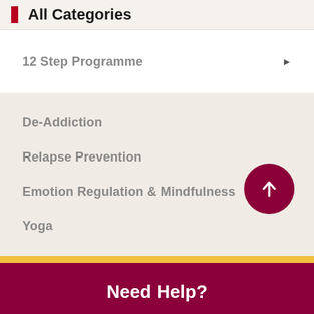All Categories
12 Step Programme
De-Addiction
Relapse Prevention
Emotion Regulation & Mindfulness
Yoga
Need Help?